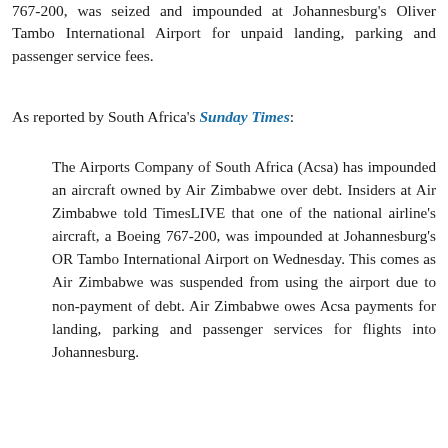767-200, was seized and impounded at Johannesburg's Oliver Tambo International Airport for unpaid landing, parking and passenger service fees.
As reported by South Africa's Sunday Times:
The Airports Company of South Africa (Acsa) has impounded an aircraft owned by Air Zimbabwe over debt. Insiders at Air Zimbabwe told TimesLIVE that one of the national airline's aircraft, a Boeing 767-200, was impounded at Johannesburg's OR Tambo International Airport on Wednesday. This comes as Air Zimbabwe was suspended from using the airport due to non-payment of debt. Air Zimbabwe owes Acsa payments for landing, parking and passenger services for flights into Johannesburg.